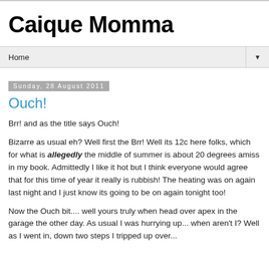Caique Momma
Home
Sunday, 28 August 2011
Ouch!
Brr! and as the title says Ouch!
Bizarre as usual eh? Well first the Brr! Well its 12c here folks, which for what is allegedly the middle of summer is about 20 degrees amiss in my book. Admittedly I like it hot but I think everyone would agree that for this time of year it really is rubbish! The heating was on again last night and I just know its going to be on again tonight too!
Now the Ouch bit.... well yours truly when head over apex in the garage the other day. As usual I was hurrying up... when aren't I? Well as I went in, down two steps I tripped up over...